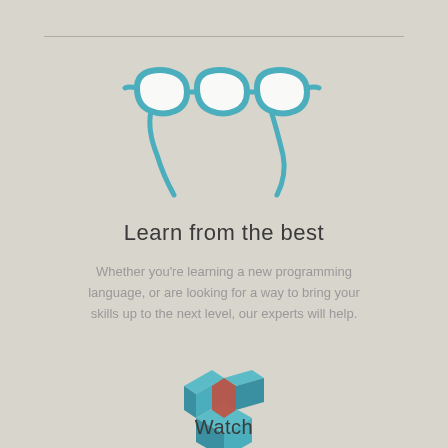[Figure (illustration): Teal/blue outline icon of eyeglasses with arms folded down]
Learn from the best
Whether you're learning a new programming language, or are looking for a way to bring your skills up to the next level, our experts will help.
[Figure (illustration): 3D isometric icon of three teal cubes arranged in a Y-shape with a red hexagon in the center]
Watch